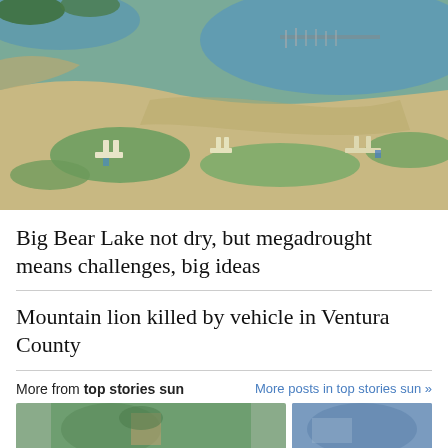[Figure (photo): Aerial view of Big Bear Lake showing exposed dry lakebed, scattered boat docks stranded on dry ground, with distant marina and water visible in the background. Green vegetation patches and sandy soil exposed by low water levels.]
Big Bear Lake not dry, but megadrought means challenges, big ideas
Mountain lion killed by vehicle in Ventura County
More from top stories sun
More posts in top stories sun »
[Figure (photo): Two partial thumbnail images at the bottom of the page — left shows a green/outdoor scene, right shows a blue-toned scene.]